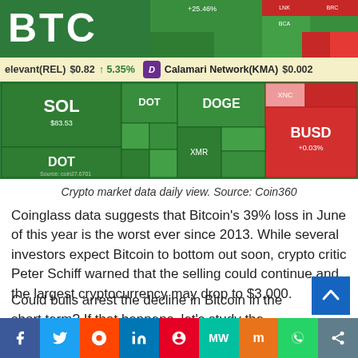[Figure (screenshot): Crypto market treemap showing BTC and other coins in green/red tiles, top portion]
elevant(REL)  $0.82  ↑ 5.35%    Calamari Network(KMA)  $0.002
[Figure (screenshot): Crypto market data daily view treemap showing SOL, DOT, DOGE, BUSD and other coins in green and red tiles]
Crypto market data daily view. Source: Coin360
Coinglass data suggests that Bitcoin's 39% loss in June of this year is the worst ever since 2013. While several investors expect Bitcoin to bottom out soon, crypto critic Peter Schiff warned that the selling could continue and the largest cryptocurrency may drop to $3,000.
Could bulls arrest the decline in Bitcoin in the short term? If that happens, let's study the charts of the top-5 cryptocurrencies that may outperform the other coins.